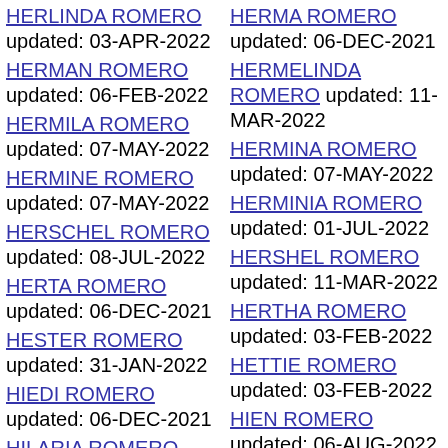HERLINDA ROMERO updated: 03-APR-2022
HERMAN ROMERO updated: 06-FEB-2022
HERMILA ROMERO updated: 07-MAY-2022
HERMINE ROMERO updated: 07-MAY-2022
HERSCHEL ROMERO updated: 08-JUL-2022
HERTA ROMERO updated: 06-DEC-2021
HESTER ROMERO updated: 31-JAN-2022
HIEDI ROMERO updated: 06-DEC-2021
HILARIA ROMERO updated: 07-MAY-2022
HILARY ROMERO
HERMA ROMERO updated: 06-DEC-2021
HERMELINDA ROMERO updated: 11-MAR-2022
HERMINA ROMERO updated: 07-MAY-2022
HERMINIA ROMERO updated: 01-JUL-2022
HERSHEL ROMERO updated: 11-MAR-2022
HERTHA ROMERO updated: 03-FEB-2022
HETTIE ROMERO updated: 03-FEB-2022
HIEN ROMERO updated: 06-AUG-2022
HILARIO ROMERO updated: 03-APR-2022
HILDA ROMERO